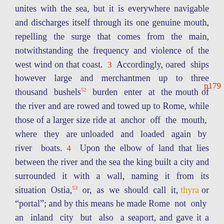unites with the sea, but it is everywhere navigable and discharges itself through its one genuine mouth, repelling the surge that comes from the main, notwithstanding the frequency and violence of the west wind on that coast. 3 Accordingly, oared ships however large and merchantmen up to three thousand bushels⁵² burden enter at the mouth of the river and are rowed and towed up to Rome, while those of a larger size ride at anchor off the mouth, where they are unloaded and loaded again by river boats. 4 Upon the elbow of land that lies between the river and the sea the king built a city and surrounded it with a wall, naming it from its situation Ostia,⁵³ or, as we should call it, thyra or "portal"; and by this means he made Rome not only an inland city but also a seaport, and gave it a taste of the good things
p179